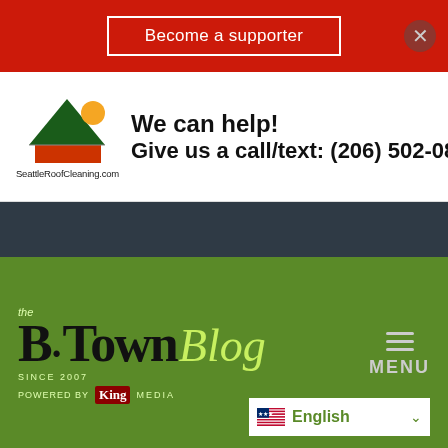Become a supporter
[Figure (logo): Seattle Roof Cleaning logo with tree and text 'SeattleRoofCleaning.com']
We can help!
Give us a call/text: (206) 502-0850
[Figure (logo): The B-Town Blog logo, Since 2007, Powered by King Media, on green background with MENU button]
©2022 South King Media | Powered by South King Media | Privacy Policy & Terms
English